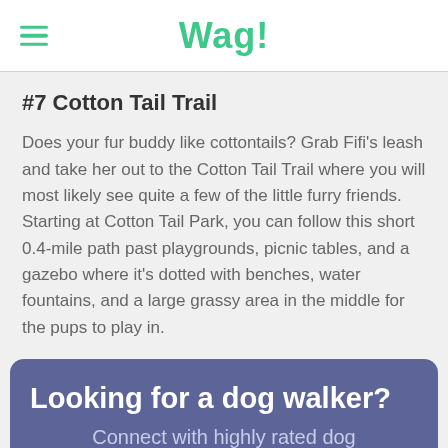Wag!
#7 Cotton Tail Trail
Does your fur buddy like cottontails? Grab Fifi's leash and take her out to the Cotton Tail Trail where you will most likely see quite a few of the little furry friends. Starting at Cotton Tail Park, you can follow this short 0.4-mile path past playgrounds, picnic tables, and a gazebo where it's dotted with benches, water fountains, and a large grassy area in the middle for the pups to play in.
Looking for a dog walker? Connect with highly rated dog